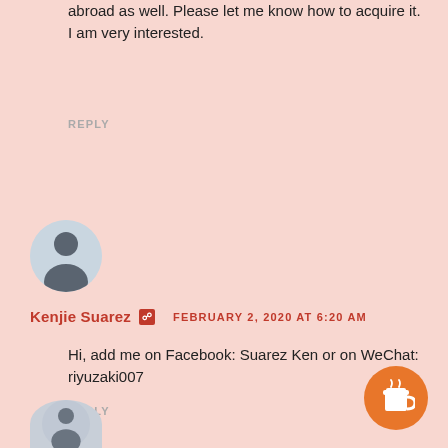abroad as well. Please let me know how to acquire it. I am very interested.
REPLY
[Figure (illustration): Circular avatar showing a silhouette of a person against a light blue background]
Kenjie Suarez  [icon]   FEBRUARY 2, 2020 AT 6:20 AM
Hi, add me on Facebook: Suarez Ken or on WeChat: riyuzaki007
REPLY
[Figure (illustration): Orange circular coffee cup button in bottom-right corner]
[Figure (illustration): Partial circular avatar at bottom-left]